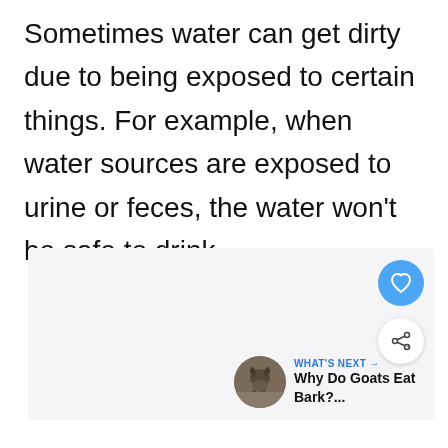Sometimes water can get dirty due to being exposed to certain things. For example, when water sources are exposed to urine or feces, the water won't be safe to drink.
[Figure (screenshot): A light gray content area with UI elements: a blue circular heart/like button, a white circular share button, and a 'What's Next' card with a thumbnail image of goats and the title 'Why Do Goats Eat Bark?...']